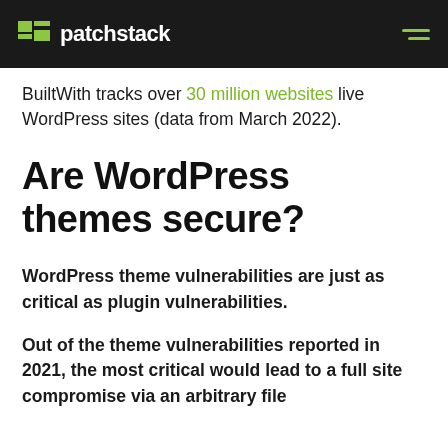patchstack
BuiltWith tracks over 30 million websites live WordPress sites (data from March 2022).
Are WordPress themes secure?
WordPress theme vulnerabilities are just as critical as plugin vulnerabilities.
Out of the theme vulnerabilities reported in 2021, the most critical would lead to a full site compromise via an arbitrary file